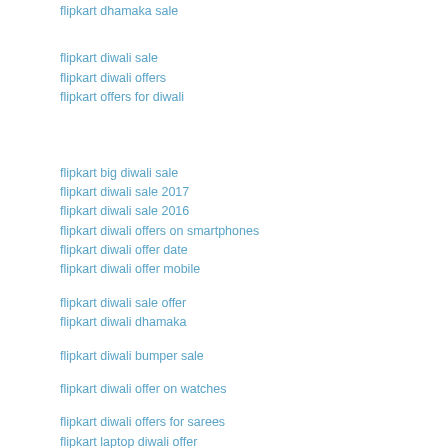flipkart dhamaka sale
flipkart diwali sale
flipkart diwali offers
flipkart offers for diwali
flipkart big diwali sale
flipkart diwali sale 2017
flipkart diwali sale 2016
flipkart diwali offers on smartphones
flipkart diwali offer date
flipkart diwali offer mobile
flipkart diwali sale offer
flipkart diwali dhamaka
flipkart diwali bumper sale
flipkart diwali offer on watches
flipkart diwali offers for sarees
flipkart laptop diwali offer